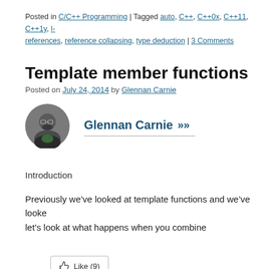Posted in C/C++ Programming | Tagged auto, C++, C++0x, C++11, C++1y, l- references, reference collapsing, type deduction | 3 Comments
Template member functions
Posted on July 24, 2014 by Glennan Carnie
[Figure (photo): Circular avatar photo of Glennan Carnie, a man with glasses and beard]
Glennan Carnie
Introduction
Previously we've looked at template functions and we've looke let's look at what happens when you combine
Like (9)